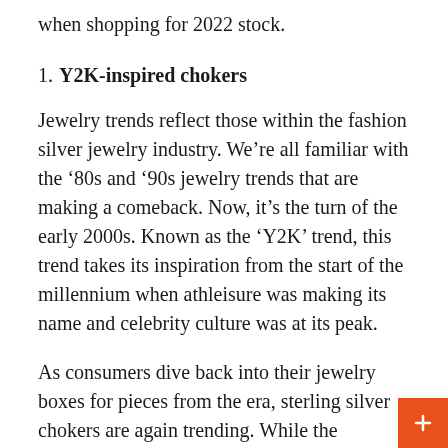when shopping for 2022 stock.
1. Y2K-inspired chokers
Jewelry trends reflect those within the fashion silver jewelry industry. We’re all familiar with the ‘80s and ’90s jewelry trends that are making a comeback. Now, it’s the turn of the early 2000s. Known as the ‘Y2K’ trend, this trend takes its inspiration from the start of the millennium when athleisure was making its name and celebrity culture was at its peak.
As consumers dive back into their jewelry boxes for pieces from the era, sterling silver chokers are again trending. While the runways show chunky chokers that make a statement, consumers want wearable everyday pieces.